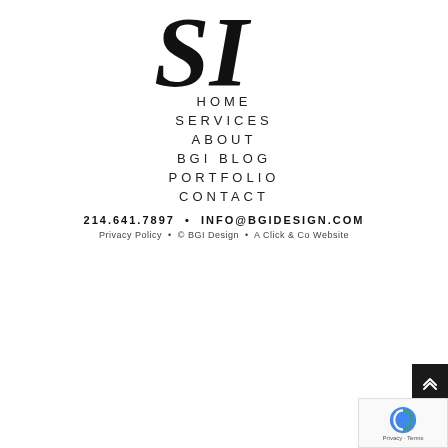[Figure (logo): BGI Design logo — large stylized 'SI' letters in serif font]
HOME
SERVICES
ABOUT
BGI BLOG
PORTFOLIO
CONTACT
214.641.7897  •  INFO@BGIDESIGN.COM
Privacy Policy  •  © BGI Design  •  A Click & Co Website